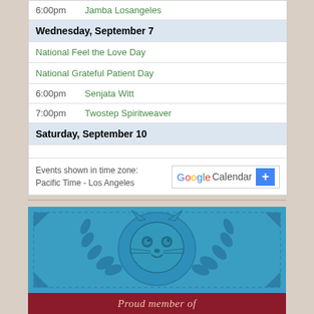6:00pm  Jamba Losangeles
Wednesday, September 7
National Feel the Love Day
National Grateful Patient Day
6:00pm  Senjata Witt
7:00pm  Twostep Spiritweaver
Saturday, September 10
Events shown in time zone: Pacific Time - Los Angeles
[Figure (logo): Google Calendar logo with blue plus button]
[Figure (illustration): Blue badge with cat face and laurel wreath design, red banner at bottom reading Proud member of]